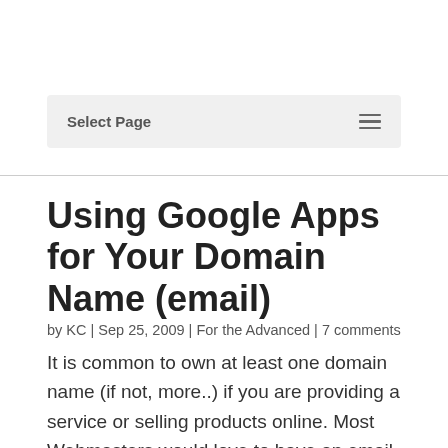Select Page
Using Google Apps for Your Domain Name (email)
by KC | Sep 25, 2009 | For the Advanced | 7 comments
It is common to own at least one domain name (if not, more..) if you are providing a service or selling products online. Most Webmasters would love to have an email for their domain